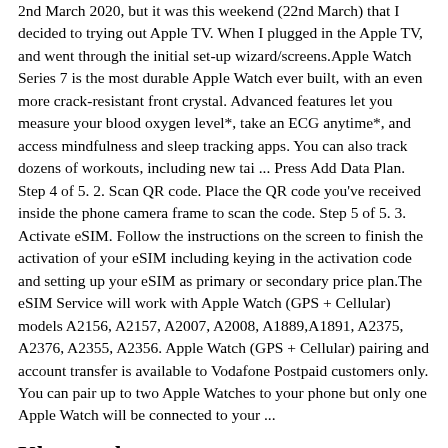2nd March 2020, but it was this weekend (22nd March) that I decided to trying out Apple TV. When I plugged in the Apple TV, and went through the initial set-up wizard/screens.Apple Watch Series 7 is the most durable Apple Watch ever built, with an even more crack-resistant front crystal. Advanced features let you measure your blood oxygen level*, take an ECG anytime*, and access mindfulness and sleep tracking apps. You can also track dozens of workouts, including new tai ... Press Add Data Plan. Step 4 of 5. 2. Scan QR code. Place the QR code you've received inside the phone camera frame to scan the code. Step 5 of 5. 3. Activate eSIM. Follow the instructions on the screen to finish the activation of your eSIM including keying in the activation code and setting up your eSIM as primary or secondary price plan.The eSIM Service will work with Apple Watch (GPS + Cellular) models A2156, A2157, A2007, A2008, A1889,A1891, A2375, A2376, A2355, A2356. Apple Watch (GPS + Cellular) pairing and account transfer is available to Vodafone Postpaid customers only. You can pair up to two Apple Watches to your phone but only one Apple Watch will be connected to your ...
Klavye teknosa
Download My Vodafone (UK) and enjoy it on your iPhone, iPad and iPod touch. The My Vodafone app helps you focus more time